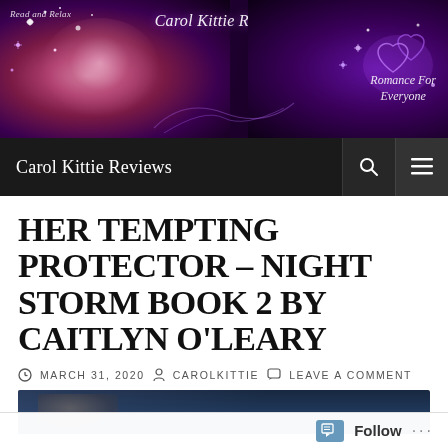[Figure (illustration): Carol Kittie Reviews blog banner with purple glowing hearts, sparkles, pink rose on left, text 'Read and Relax', 'Carol Kittie Reviews', 'Romance For Everyone' on dark purple background]
Carol Kittie Reviews
HER TEMPTING PROTECTOR – NIGHT STORM BOOK 2 BY CAITLYN O'LEARY
MARCH 31, 2020   CAROLKITTIE   LEAVE A COMMENT
[Figure (photo): Partial view of book cover, dark blue tones, partially cut off at bottom of page]